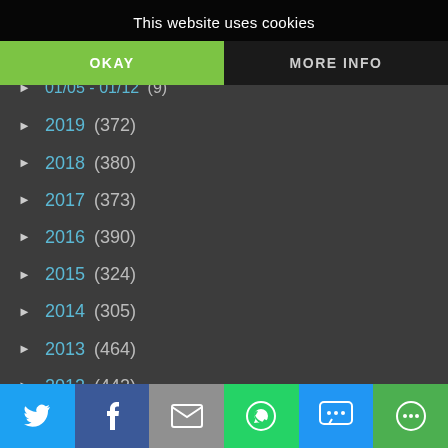This website uses cookies
OKAY
MORE INFO
► 01/05 - 01/12 (9)
► 2019 (372)
► 2018 (380)
► 2017 (373)
► 2016 (390)
► 2015 (324)
► 2014 (305)
► 2013 (464)
► 2012 (442)
► 2011 (124)
[Figure (screenshot): Social share bar at bottom with Twitter, Facebook, Email, WhatsApp, SMS, and More icons]